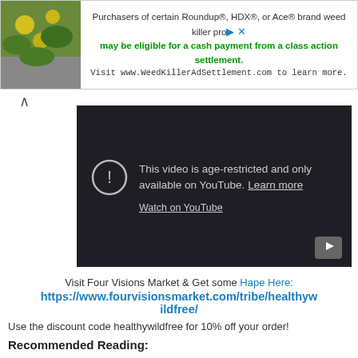[Figure (screenshot): Advertisement banner: plant/flower image on left, text about Roundup/HDX/Ace brand weed killer settlement, visit WeedKillerAdSettlement.com]
[Figure (screenshot): YouTube embedded video player showing age-restricted message: 'This video is age-restricted and only available on YouTube. Learn more' and 'Watch on YouTube' link]
Visit Four Visions Market & Get some Hape Here:
https://www.fourvisionsmarket.com/tribe/healthywildfree/
Use the discount code healthywildfree for 10% off your order!
Recommended Reading: